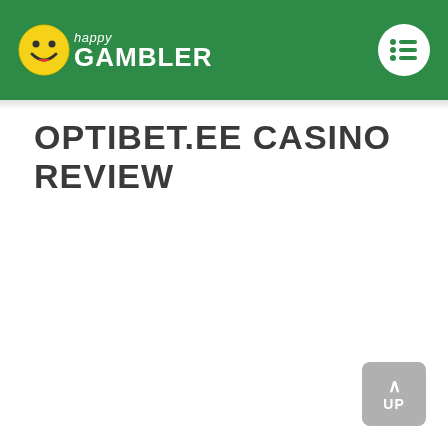happy GAMBLER
OPTIBET.EE CASINO REVIEW